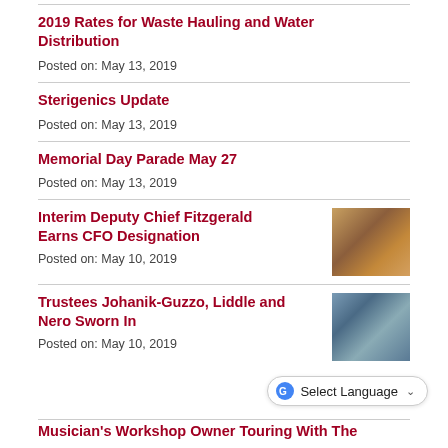2019 Rates for Waste Hauling and Water Distribution
Posted on: May 13, 2019
Sterigenics Update
Posted on: May 13, 2019
Memorial Day Parade May 27
Posted on: May 13, 2019
Interim Deputy Chief Fitzgerald Earns CFO Designation
Posted on: May 10, 2019
[Figure (photo): Group photo related to Interim Deputy Chief Fitzgerald CFO Designation]
Trustees Johanik-Guzzo, Liddle and Nero Sworn In
Posted on: May 10, 2019
[Figure (photo): Photo of Trustees Johanik-Guzzo, Liddle and Nero]
Musician's Workshop Owner Touring With The